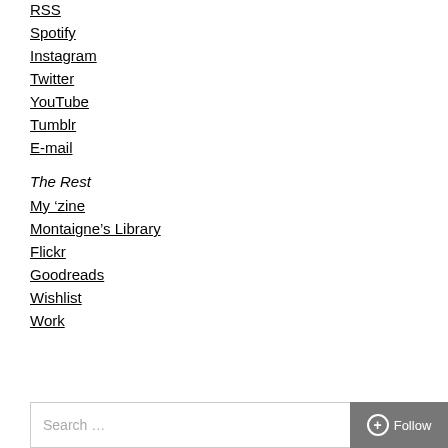RSS
Spotify
Instagram
Twitter
YouTube
Tumblr
E-mail
The Rest
My 'zine
Montaigne's Library
Flickr
Goodreads
Wishlist
Work
Search ...
Follow